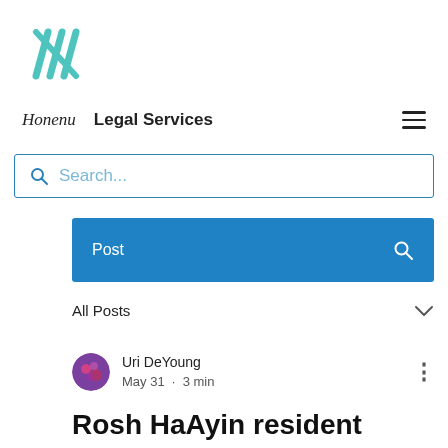[Figure (logo): Honenu logo: teal/turquoise stylized double-checkmark or overlapping diagonal strokes]
Honenu   Legal Services
Search...
Post
All Posts
Uri DeYoung
May 31 · 3 min
Rosh HaAyin resident attacked, then detained